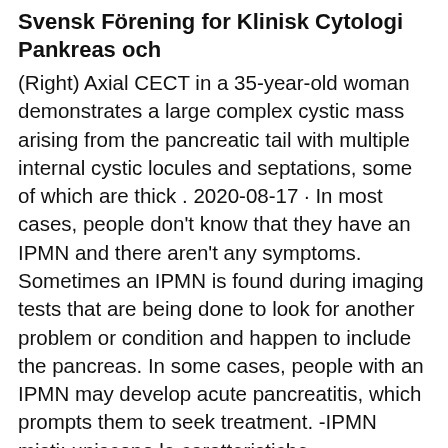Svensk Förening for Klinisk Cytologi Pankreas och
(Right) Axial CECT in a 35-year-old woman demonstrates a large complex cystic mass arising from the pancreatic tail with multiple internal cystic locules and septations, some of which are thick . 2020-08-17 · In most cases, people don't know that they have an IPMN and there aren't any symptoms. Sometimes an IPMN is found during imaging tests that are being done to look for another problem or condition and happen to include the pancreas. In some cases, people with an IPMN may develop acute pancreatitis, which prompts them to seek treatment. -IPMN misti: uniscono le caratteristiche morfologiche dei BD e dei MD ma, sotto il profilo biologico e terapeutico, vanno